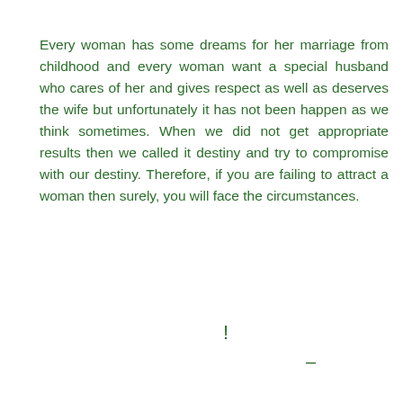Every woman has some dreams for her marriage from childhood and every woman want a special husband who cares of her and gives respect as well as deserves the wife but unfortunately it has not been happen as we think sometimes. When we did not get appropriate results then we called it destiny and try to compromise with our destiny. Therefore, if you are failing to attract a woman then surely, you will face the circumstances.
!
-